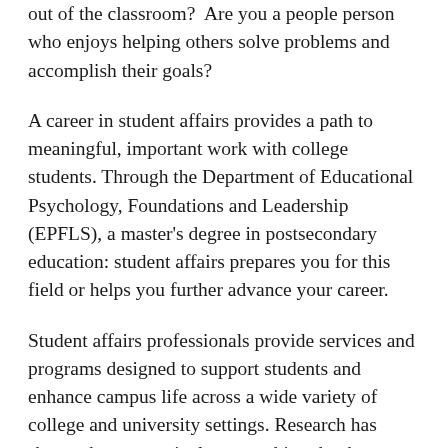out of the classroom?  Are you a people person who enjoys helping others solve problems and accomplish their goals?
A career in student affairs provides a path to meaningful, important work with college students. Through the Department of Educational Psychology, Foundations and Leadership (EPFLS), a master's degree in postsecondary education: student affairs prepares you for this field or helps you further advance your career.
Student affairs professionals provide services and programs designed to support students and enhance campus life across a wide variety of college and university settings. Research has shown that co-curricula--everything that happens on campus outside of the classroom--are an important complement and partner to academic